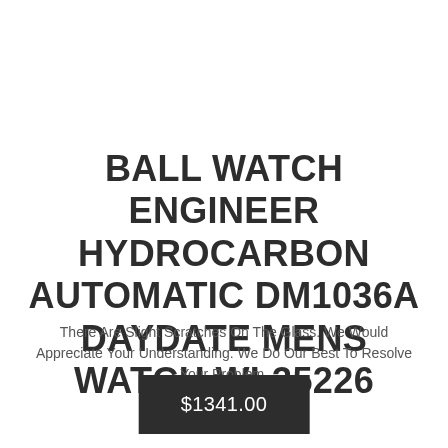BALL WATCH ENGINEER HYDROCARBON AUTOMATIC DM1036A DAYDATE MENS WATCH WL35226
There Are Slight Scratches On The Glass. We Would Appreciate Your Understanding. We Do Our Best To Resolve Your Problem.
$1341.00